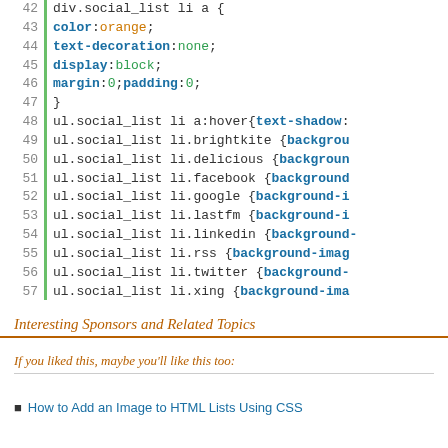[Figure (screenshot): Code editor screenshot showing CSS code lines 42-58 with line numbers, a green vertical bar, and syntax highlighting. CSS properties shown in blue bold, values in green/orange. Lines show div.social_list rules, ul.social_list li rules for various social networks.]
Interesting Sponsors and Related Topics
If you liked this, maybe you'll like this too:
How to Add an Image to HTML Lists Using CSS